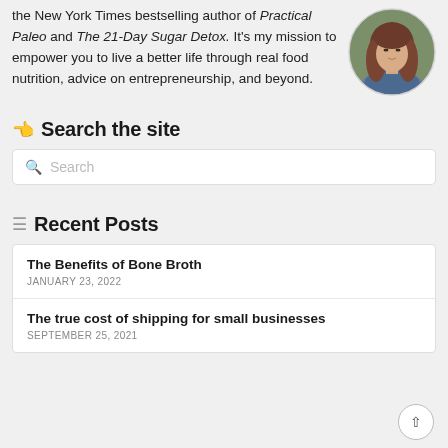the New York Times bestselling author of Practical Paleo and The 21-Day Sugar Detox. It's my mission to empower you to live a better life through real food nutrition, advice on entrepreneurship, and beyond.
[Figure (photo): Circular portrait photo of a woman with long wavy brown hair wearing a denim jacket, photographed against a muted background.]
Search the site
Search
Recent Posts
The Benefits of Bone Broth — JANUARY 23, 2022
The true cost of shipping for small businesses — SEPTEMBER 25, 2021